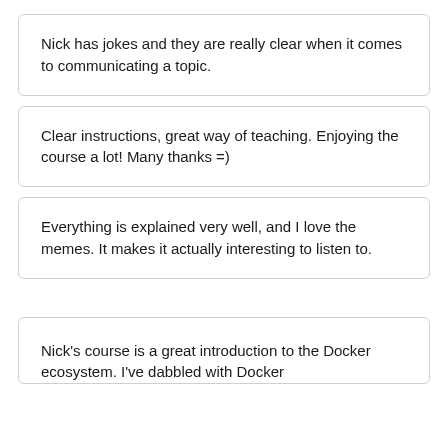Nick has jokes and they are really clear when it comes to communicating a topic.
Clear instructions, great way of teaching. Enjoying the course a lot! Many thanks =)
Everything is explained very well, and I love the memes. It makes it actually interesting to listen to.
Nick's course is a great introduction to the Docker ecosystem. I've dabbled with Docker